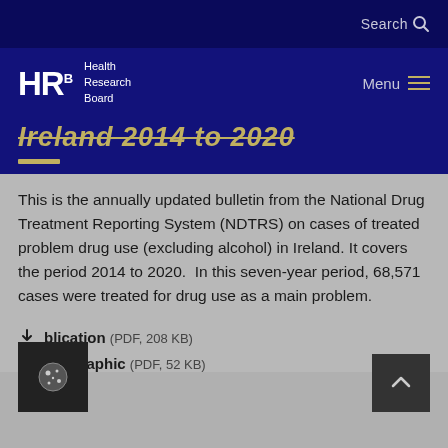Search
[Figure (logo): HRB Health Research Board logo with white letters and text on dark navy background, with Menu navigation button]
Ireland 2014 to 2020
This is the annually updated bulletin from the National Drug Treatment Reporting System (NDTRS) on cases of treated problem drug use (excluding alcohol) in Ireland. It covers the period 2014 to 2020.  In this seven-year period, 68,571 cases were treated for drug use as a main problem.
Publication (PDF, 208 KB)
Infographic (PDF, 52 KB)